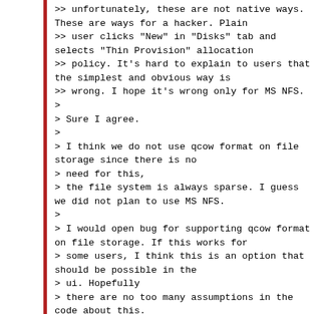>> unfortunately, these are not native ways.
These are ways for a hacker. Plain
>> user clicks "New" in "Disks" tab and
selects "Thin Provision" allocation
>> policy. It's hard to explain to users that
the simplest and obvious way is
>> wrong. I hope it's wrong only for MS NFS.
>
> Sure I agree.
>
> I think we do not use qcow format on file
storage since there is no
> need for this,
> the file system is always sparse. I guess
we did not plan to use MS NFS.
>
> I would open bug for supporting qcow format
on file storage. If this works for
> some users, I think this is an option that
should be possible in the
> ui. Hopefully
> there are no too many assumptions in the
code about this.
>